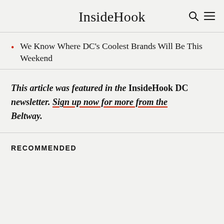InsideHook
We Know Where DC's Coolest Brands Will Be This Weekend
This article was featured in the InsideHook DC newsletter. Sign up now for more from the Beltway.
RECOMMENDED